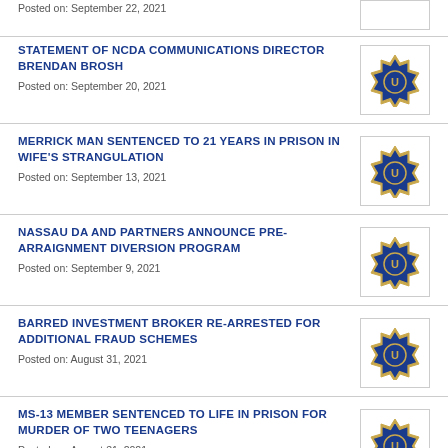STATEMENT OF NCDA COMMUNICATIONS DIRECTOR BRENDAN BROSH
Posted on: September 20, 2021
MERRICK MAN SENTENCED TO 21 YEARS IN PRISON IN WIFE'S STRANGULATION
Posted on: September 13, 2021
NASSAU DA AND PARTNERS ANNOUNCE PRE-ARRAIGNMENT DIVERSION PROGRAM
Posted on: September 9, 2021
BARRED INVESTMENT BROKER RE-ARRESTED FOR ADDITIONAL FRAUD SCHEMES
Posted on: August 31, 2021
MS-13 MEMBER SENTENCED TO LIFE IN PRISON FOR MURDER OF TWO TEENAGERS
Posted on: August 31, 2021